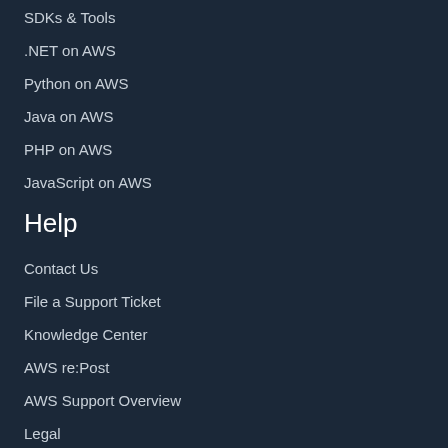SDKs & Tools
.NET on AWS
Python on AWS
Java on AWS
PHP on AWS
JavaScript on AWS
Help
Contact Us
File a Support Ticket
Knowledge Center
AWS re:Post
AWS Support Overview
Legal
AWS Careers